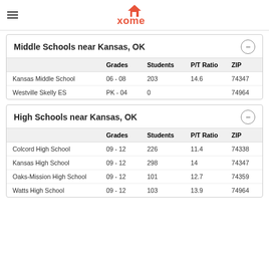xome
Middle Schools near Kansas, OK
|  | Grades | Students | P/T Ratio | ZIP |
| --- | --- | --- | --- | --- |
| Kansas Middle School | 06 - 08 | 203 | 14.6 | 74347 |
| Westville Skelly ES | PK - 04 | 0 |  | 74964 |
High Schools near Kansas, OK
|  | Grades | Students | P/T Ratio | ZIP |
| --- | --- | --- | --- | --- |
| Colcord High School | 09 - 12 | 226 | 11.4 | 74338 |
| Kansas High School | 09 - 12 | 298 | 14 | 74347 |
| Oaks-Mission High School | 09 - 12 | 101 | 12.7 | 74359 |
| Watts High School | 09 - 12 | 103 | 13.9 | 74964 |